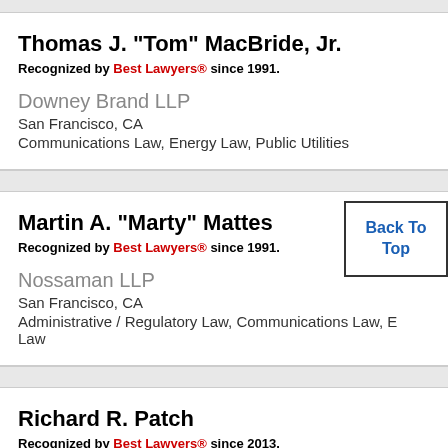Thomas J. "Tom" MacBride, Jr.
Recognized by Best Lawyers® since 1991.
Downey Brand LLP
San Francisco, CA
Communications Law, Energy Law, Public Utilities
Martin A. "Marty" Mattes
Recognized by Best Lawyers® since 1991.
Nossaman LLP
San Francisco, CA
Administrative / Regulatory Law, Communications Law, E Law
Richard R. Patch
Recognized by Best Lawyers® since 2013.